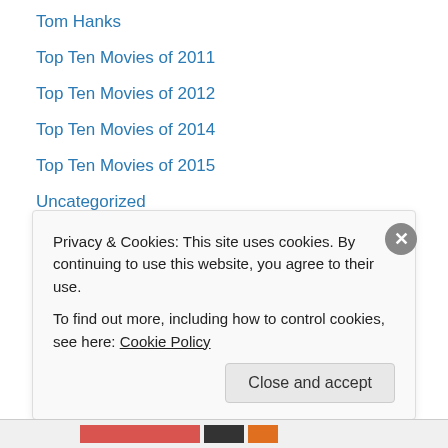Tom Hanks
Top Ten Movies of 2011
Top Ten Movies of 2012
Top Ten Movies of 2014
Top Ten Movies of 2015
Uncategorized
WWII
Young Adult
Zombie comedy
zombie movie
Meta
Privacy & Cookies: This site uses cookies. By continuing to use this website, you agree to their use.
To find out more, including how to control cookies, see here: Cookie Policy